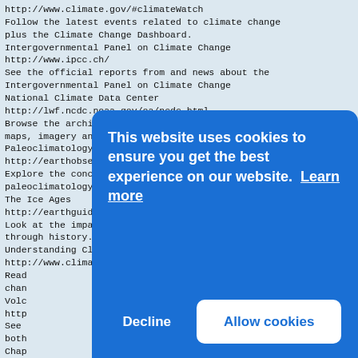http://www.climate.gov/#climateWatch
Follow the latest events related to climate change plus the Climate Change Dashboard.
Intergovernmental Panel on Climate Change
http://www.ipcc.ch/
See the official reports from and news about the Intergovernmental Panel on Climate Change
National Climate Data Center
http://lwf.ncdc.noaa.gov/oa/ncdc.html
Browse the archives of past weather observations, maps, imagery and forecasts.
Paleoclimatology
http://earthobservatory.nasa.gov/Features/Paleoclimato.
Explore the concept of rapid climate change using paleoclimatology.
The Ice Ages
http://earthguide.ucsd.edu/virtualmuseum/climatechange
Look at the impact of Ice Ages on climate change through history.
Understanding Climate
http://www.climate.gov/#understandingClimate
Read... [partially obscured]
Volc... [partially obscured]
http... [partially obscured]
See ... both... [partially obscured]
Chap...
AQI
http...
Moni...
Quality Index.
Acid Rain Program
[Figure (screenshot): Cookie consent banner overlay with blue background. Message: 'This website uses cookies to ensure you get the best experience on our website. Learn more'. Two buttons: 'Decline' (white text) and 'Allow cookies' (blue text on white background).]